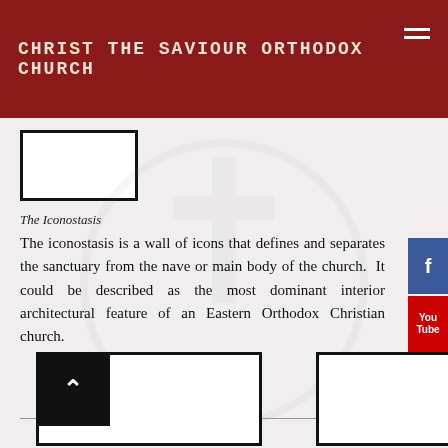CHRIST THE SAVIOUR ORTHODOX CHURCH
[Figure (photo): Image placeholder with black border, top left below header]
The Iconostasis
The iconostasis is a wall of icons that defines and separates the sanctuary from the nave or main body of the church. It could be described as the most dominant interior architectural feature of an Eastern Orthodox Christian church.
[Figure (photo): Bottom left image placeholder with black border and back-to-top button]
[Figure (photo): Bottom right image placeholder with black border]